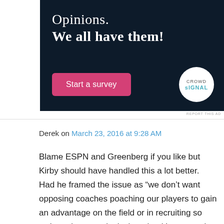[Figure (illustration): Dark navy advertisement banner with text 'Opinions. We all have them!' a pink 'Start a survey' button and a Crowdsignal circular logo]
REPORT THIS AD
Derek on March 23, 2016 at 9:28 AM
Blame ESPN and Greenberg if you like but Kirby should have handled this a lot better. Had he framed the issue as “we don’t want opposing coaches poaching our players to gain an advantage on the field or in recruiting so we’re going to make it clear that it’s not worth trying.”